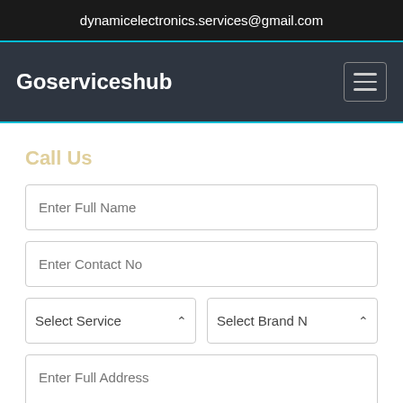dynamicelectronics.services@gmail.com
Goserviceshub
Call Us
[Figure (screenshot): Web form with fields: Enter Full Name, Enter Contact No, Select Service dropdown, Select Brand N dropdown, Enter Full Address textarea]